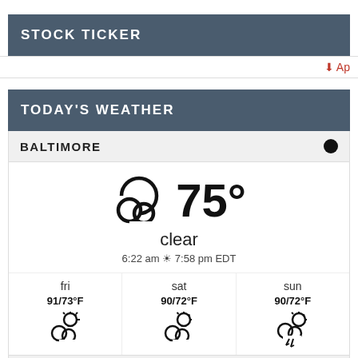STOCK TICKER
↓ Ap
TODAY'S WEATHER
[Figure (infographic): Weather widget showing Baltimore weather: 75° clear, 6:22 am sunrise 7:58 pm EDT. Forecast: fri 91/73°F partly cloudy, sat 90/72°F partly cloudy, sun 90/72°F thunderstorm. Footer: Weather forecast Baltimore, Maryland ▶]
Weather forecast Baltimore, Maryland ▶